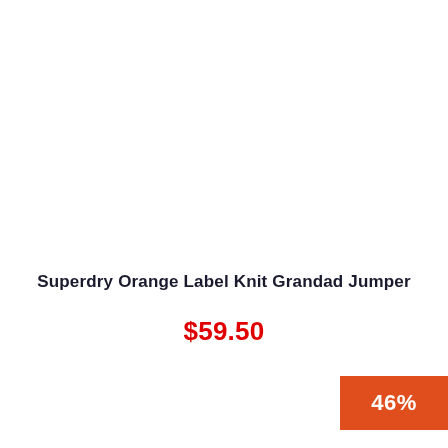Superdry Orange Label Knit Grandad Jumper
$59.50
46%